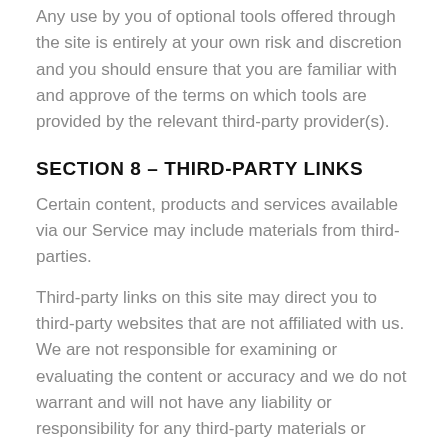Any use by you of optional tools offered through the site is entirely at your own risk and discretion and you should ensure that you are familiar with and approve of the terms on which tools are provided by the relevant third-party provider(s).
SECTION 8 – THIRD-PARTY LINKS
Certain content, products and services available via our Service may include materials from third-parties.
Third-party links on this site may direct you to third-party websites that are not affiliated with us. We are not responsible for examining or evaluating the content or accuracy and we do not warrant and will not have any liability or responsibility for any third-party materials or websites, or for any other materials, products, or services of third-parties.
We are not liable for any harm or damages related to